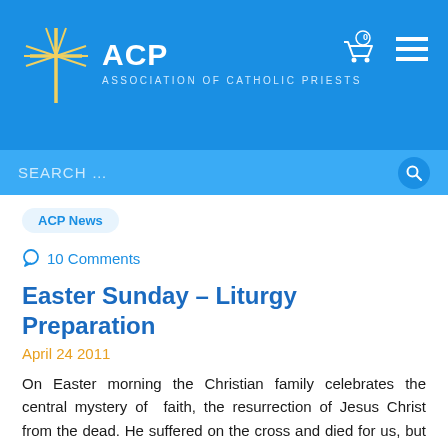ACP — Association of Catholic Priests
SEARCH ...
ACP News
10 Comments
Easter Sunday – Liturgy Preparation
April 24 2011
On Easter morning the Christian family celebrates the central mystery of  faith, the resurrection of Jesus Christ from the dead. He suffered on the cross and died for us, but now he is risen! Filled with the spirit of Easter joy, Christians proclaim the might and glory of God.